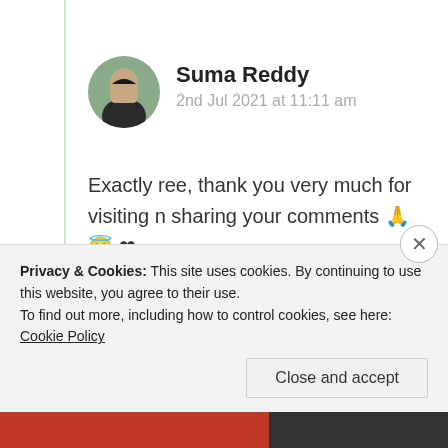[Figure (photo): Circular avatar photo of a person]
Suma Reddy
2nd Jul 2021 at 11:11 am
Exactly ree, thank you very much for visiting n sharing your comments 🙏 😇 ❤
★ Like
Log in to Reply
Privacy & Cookies: This site uses cookies. By continuing to use this website, you agree to their use.
To find out more, including how to control cookies, see here: Cookie Policy
Close and accept